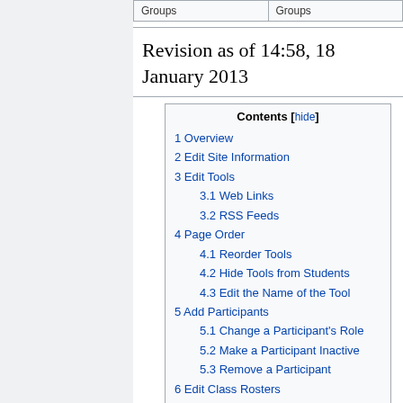| Groups | Groups |
| --- | --- |
Revision as of 14:58, 18 January 2013
1 Overview
2 Edit Site Information
3 Edit Tools
3.1 Web Links
3.2 RSS Feeds
4 Page Order
4.1 Reorder Tools
4.2 Hide Tools from Students
4.3 Edit the Name of the Tool
5 Add Participants
5.1 Change a Participant's Role
5.2 Make a Participant Inactive
5.3 Remove a Participant
6 Edit Class Rosters
7 Link to Parent Site
8 Manage Groups